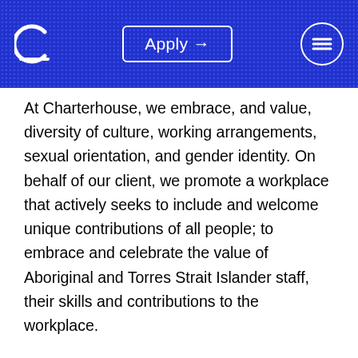Apply →
At Charterhouse, we embrace, and value, diversity of culture, working arrangements, sexual orientation, and gender identity. On behalf of our client, we promote a workplace that actively seeks to include and welcome unique contributions of all people; to embrace and celebrate the value of Aboriginal and Torres Strait Islander staff, their skills and contributions to the workplace.
How you can Apply
Click APPLY or contact Kerry Saes on